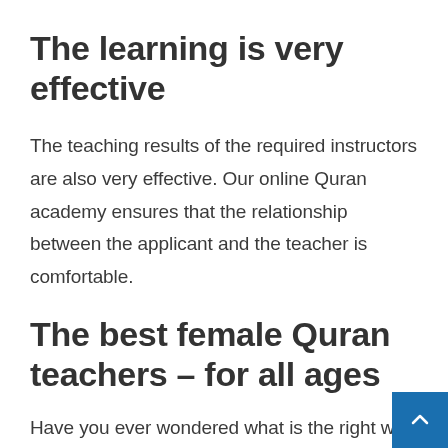The learning is very effective
The teaching results of the required instructors are also very effective. Our online Quran academy ensures that the relationship between the applicant and the teacher is comfortable.
The best female Quran teachers – for all ages
Have you ever wondered what is the right way to learn the Quran by heart? If you have and are struggling with memorising the Quran, you've come to the right place. At our Quran Academy, we